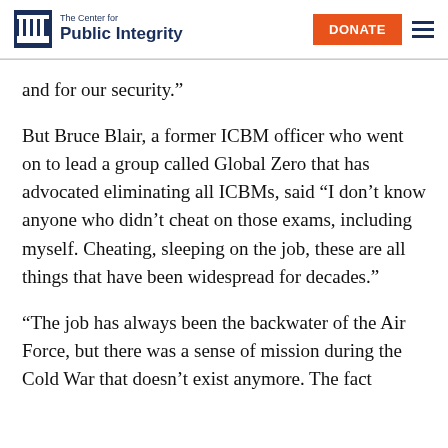The Center for Public Integrity | DONATE
and for our security.”
But Bruce Blair, a former ICBM officer who went on to lead a group called Global Zero that has advocated eliminating all ICBMs, said “I don’t know anyone who didn’t cheat on those exams, including myself. Cheating, sleeping on the job, these are all things that have been widespread for decades.”
“The job has always been the backwater of the Air Force, but there was a sense of mission during the Cold War that doesn’t exist anymore. The fact